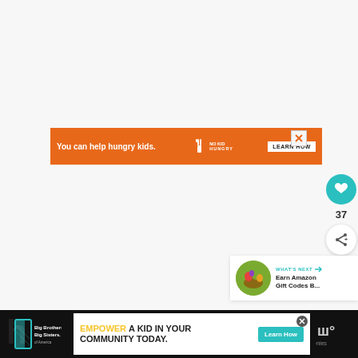[Figure (screenshot): Web page screenshot with light gray content area background]
[Figure (screenshot): Orange advertisement banner reading 'You can help hungry kids.' with No Kid Hungry logo and 'LEARN HOW' button, with X close button]
[Figure (infographic): Teal circular heart/like button]
37
[Figure (infographic): White circular share button with share icon]
WHAT'S NEXT → Earn Amazon Gift Codes B...
[Figure (screenshot): Bottom black bar with Big Brothers Big Sisters logo on left, 'EMPOWER A KID IN YOUR COMMUNITY TODAY.' ad in center with Learn How button, and website branding on right]